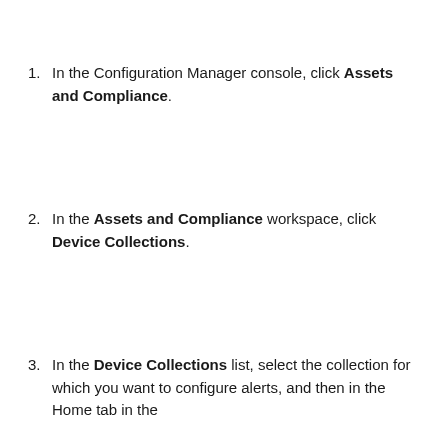In the Configuration Manager console, click Assets and Compliance.
In the Assets and Compliance workspace, click Device Collections.
In the Device Collections list, select the collection for which you want to configure alerts, and then in the Home tab in the…